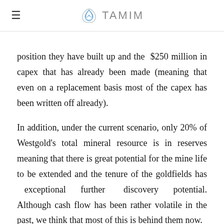TAMIM
position they have built up and the $250 million in capex that has already been made (meaning that even on a replacement basis most of the capex has been written off already).
In addition, under the current scenario, only 20% of Westgold's total mineral resource is in reserves meaning that there is great potential for the mine life to be extended and the tenure of the goldfields has exceptional further discovery potential. Although cash flow has been rather volatile in the past, we think that most of this is behind them now.